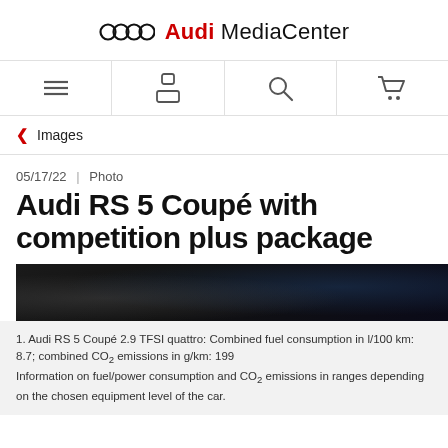Audi MediaCenter
[Figure (logo): Audi four-rings logo and MediaCenter wordmark]
[Figure (infographic): Navigation bar with menu, profile, search, and cart icons]
< Images
05/17/22 | Photo
Audi RS 5 Coupé with competition plus package
[Figure (photo): Dark close-up interior/exterior photo of Audi RS 5 Coupé]
1. Audi RS 5 Coupé 2.9 TFSI quattro: Combined fuel consumption in l/100 km: 8.7; combined CO₂ emissions in g/km: 199
Information on fuel/power consumption and CO₂ emissions in ranges depending on the chosen equipment level of the car.